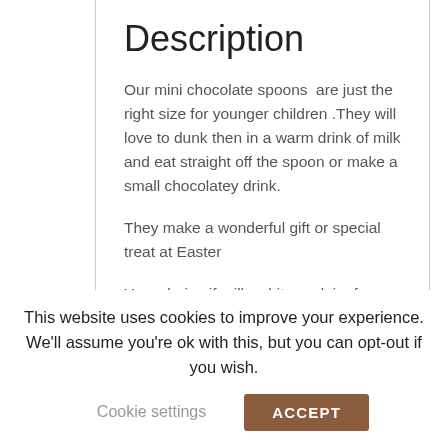Description
Our mini chocolate spoons  are just the right size for younger children .They will love to dunk then in a warm drink of milk and eat straight off the spoon or make a small chocolatey drink.
They make a wonderful gift or special treat at Easter
Your choice if milk, white or dairy free chocolate
Simply stir into a small mug of warm milk and watch it melt in to a luxuriously
This website uses cookies to improve your experience. We'll assume you're ok with this, but you can opt-out if you wish.
Cookie settings
ACCEPT